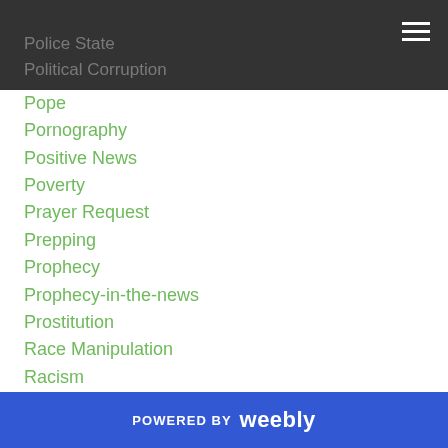Police State
Political Corruption
Pope
Pornography
Positive News
Poverty
Prayer Request
Prepping
Prophecy
Prophecy-in-the-news
Prostitution
Race Manipulation
Racism
Rapture
Research
Revival
Robotics
POWERED BY weebly